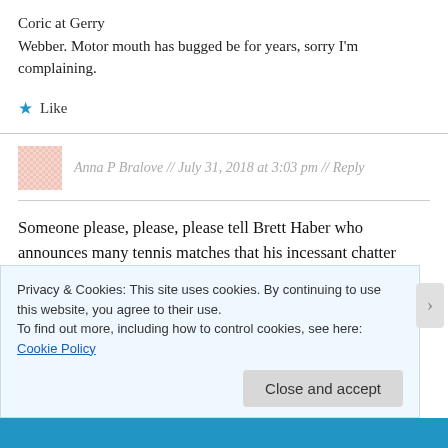Coric at Gerry Webber. Motor mouth has bugged be for years, sorry I'm complaining.
★ Like
Anna P Bralove // July 31, 2018 at 3:03 pm // Reply
Someone please, please, please tell Brett Haber who announces many tennis matches that his incessant chatter about statistical data is not helpful and is actually an aggravating distraction! I have to 'mute' or
Privacy & Cookies: This site uses cookies. By continuing to use this website, you agree to their use.
To find out more, including how to control cookies, see here: Cookie Policy
Close and accept